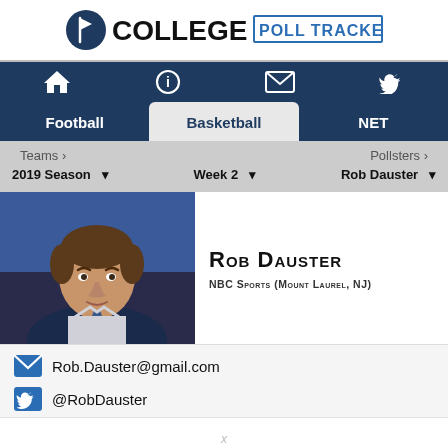[Figure (logo): College Poll Tracker logo with flag icon, 'COLLEGE' in black bold and 'POLL TRACKER' in blue outlined letters]
[Figure (screenshot): Website navigation bar with dark navy background showing home, info, email, and Twitter icons]
[Figure (screenshot): Tab navigation showing Football, Basketball (active/selected), and NET tabs]
[Figure (screenshot): Dropdown filters: 2019 Season, Week 2, Rob Dauster with Teams and Pollsters labels above]
[Figure (photo): Headshot photo of Rob Dauster, a man with brown hair against a blue background]
Rob Dauster
NBC Sports (Mount Laurel, NJ)
Rob.Dauster@gmail.com
@RobDauster